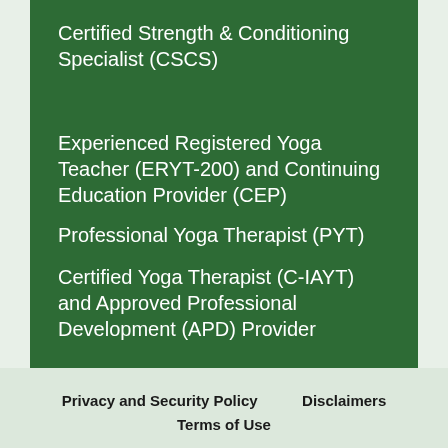Certified Strength & Conditioning Specialist (CSCS)
Experienced Registered Yoga Teacher (ERYT-200) and Continuing Education Provider (CEP)
Professional Yoga Therapist (PYT)
Certified Yoga Therapist (C-IAYT) and Approved Professional Development (APD) Provider
Privacy and Security Policy   Disclaimers
Terms of Use